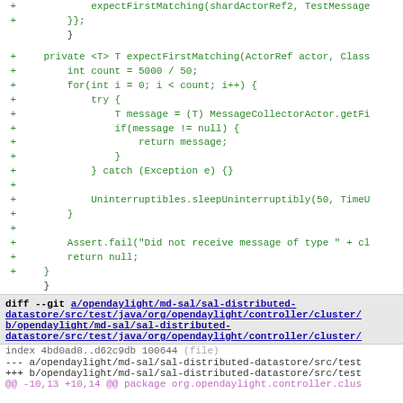Code diff showing git diff output with added lines for expectFirstMatching method and a new file diff header for sal-distributed-datastore test files
[Figure (screenshot): Source code diff view showing green added lines with + markers for a Java method expectFirstMatching, followed by a git diff header block showing file paths in opendaylight/md-sal/sal-distributed-datastore, index line, --- and +++ file lines, @@ hunk header, and import line]